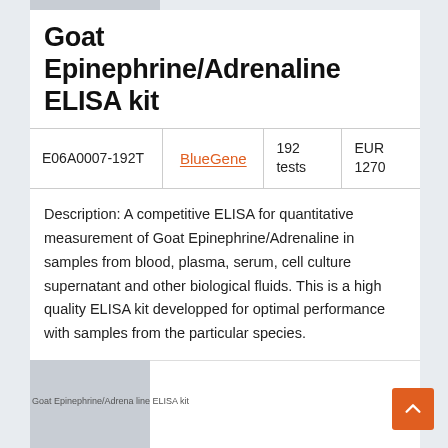Goat Epinephrine/Adrenaline ELISA kit
|  |  |  |  |
| --- | --- | --- | --- |
| E06A0007-192T | BlueGene | 192 tests | EUR 1270 |
Description: A competitive ELISA for quantitative measurement of Goat Epinephrine/Adrenaline in samples from blood, plasma, serum, cell culture supernatant and other biological fluids. This is a high quality ELISA kit developped for optimal performance with samples from the particular species.
[Figure (other): Partial view of another product listing card below, with gray image placeholder on left and orange scroll-to-top button on bottom right.]